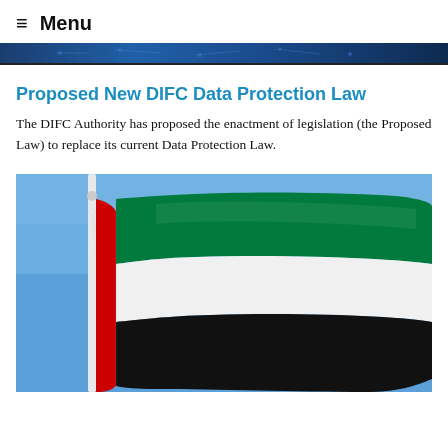≡ Menu
[Figure (photo): Dark blue banner/header image with light network/circuit pattern]
Proposed New DIFC Data Protection Law
The DIFC Authority has proposed the enactment of legislation (the Proposed Law) to replace its current Data Protection Law.
[Figure (photo): Photo of UAE flag flying on a white flagpole against a blue sky. The flag shows the red vertical stripe on the left, with three horizontal stripes: green on top, white in the middle, and black on the bottom.]